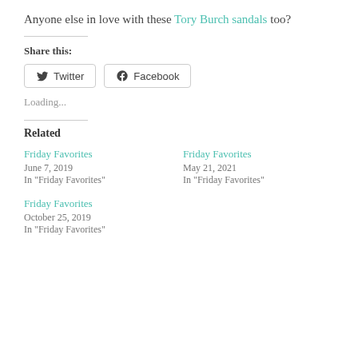Anyone else in love with these Tory Burch sandals too?
Share this:
Twitter
Facebook
Loading...
Related
Friday Favorites
June 7, 2019
In "Friday Favorites"
Friday Favorites
May 21, 2021
In "Friday Favorites"
Friday Favorites
October 25, 2019
In "Friday Favorites"